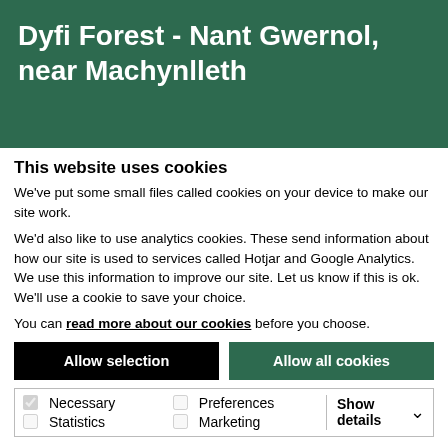Dyfi Forest - Nant Gwernol, near Machynlleth
This website uses cookies
We've put some small files called cookies on your device to make our site work.
We'd also like to use analytics cookies. These send information about how our site is used to services called Hotjar and Google Analytics. We use this information to improve our site. Let us know if this is ok. We'll use a cookie to save your choice.
You can read more about our cookies before you choose.
Allow selection | Allow all cookies
Necessary | Preferences | Statistics | Marketing | Show details